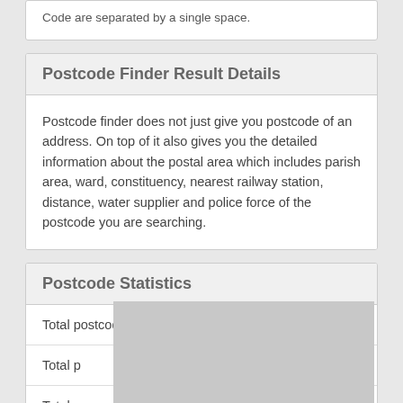Code are separated by a single space.
Postcode Finder Result Details
Postcode finder does not just give you postcode of an address. On top of it also gives you the detailed information about the postal area which includes parish area, ward, constituency, nearest railway station, distance, water supplier and police force of the postcode you are searching.
Postcode Statistics
|  |  |
| --- | --- |
| Total postcode areas | 124 |
| Total p... |  |
| Total p... |  |
| Total n... |  |